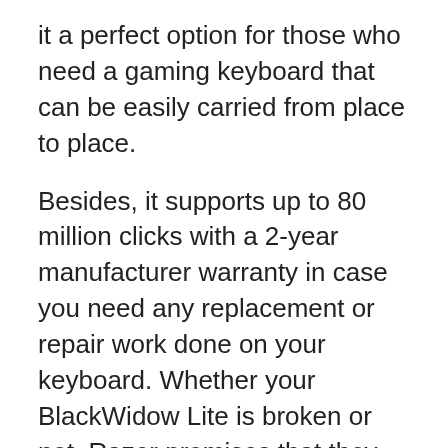it a perfect option for those who need a gaming keyboard that can be easily carried from place to place.
Besides, it supports up to 80 million clicks with a 2-year manufacturer warranty in case you need any replacement or repair work done on your keyboard. Whether your BlackWidow Lite is broken or not, Razer promises that they will fix it for you within 1-2 business days.
Additionally, it is equipped with O-Ring sound dampeners that further reduce key noise, travel distance, and typing fatigue. This amazing keyboard is the most